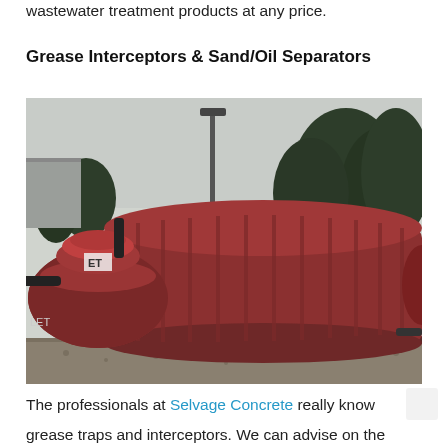wastewater treatment products at any price.
Grease Interceptors & Sand/Oil Separators
[Figure (photo): Large red/maroon fiberglass grease interceptor or septic tank sitting outdoors on gravel with trees and a parking lot light pole in the background. The tank has ribbed cylindrical body and a domed access lid with pipe fittings.]
The professionals at Selvage Concrete really know grease traps and interceptors. We can advise on the